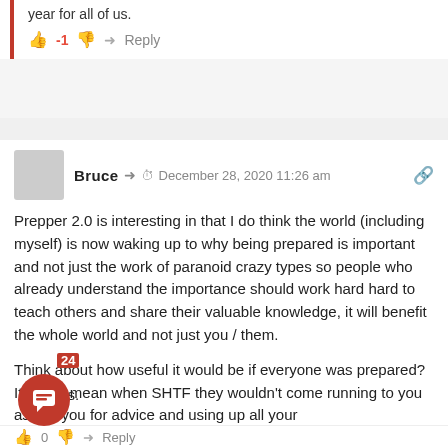year for all of us.
👍 -1 👎 → Reply
Bruce  ⏱ December 28, 2020 11:26 am
Prepper 2.0 is interesting in that I do think the world (including myself) is now waking up to why being prepared is important and not just the work of paranoid crazy types so people who already understand the importance should work hard hard to teach others and share their valuable knowledge, it will benefit the whole world and not just you / them.
Think about how useful it would be if everyone was prepared? It would mean when SHTF they wouldn't come running to you asking you for advice and using up all your supplies.
24
👍 0 👎 → Reply